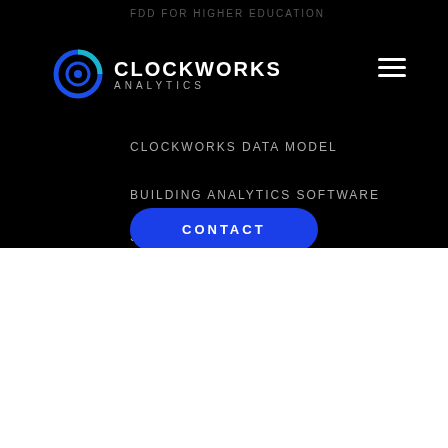FDD FOR HIGHER EDUCATION
[Figure (logo): Clockworks Analytics logo — circular ring icon in blue with CLOCKWORKS in white bold and ANALYTICS in grey below]
CLOCKWORKS DATA MODEL
BUILDING ANALYTICS SOFTWARE
SUPPORT
CONTACT
We use cookies to improve your experience on our site provide relevant information and advertising. By clicking "Accept", you accept our use of these cookies. Privacy Policy
Accept